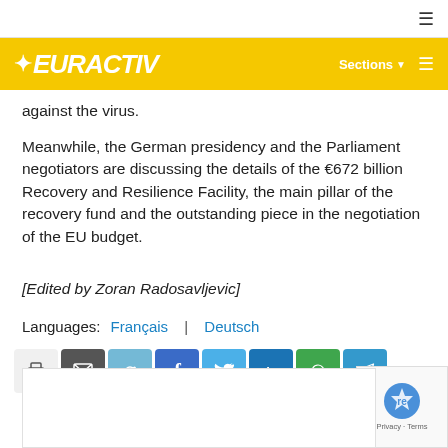EURACTIV — Sections
against the virus.
Meanwhile, the German presidency and the Parliament negotiators are discussing the details of the €672 billion Recovery and Resilience Facility, the main pillar of the recovery fund and the outstanding piece in the negotiation of the EU budget.
[Edited by Zoran Radosavljevic]
Languages: Français | Deutsch
[Figure (other): Social share buttons: print, email, reddit, facebook, twitter, linkedin, whatsapp, telegram]
[Figure (other): reCAPTCHA privacy badge (Privacy - Terms)]